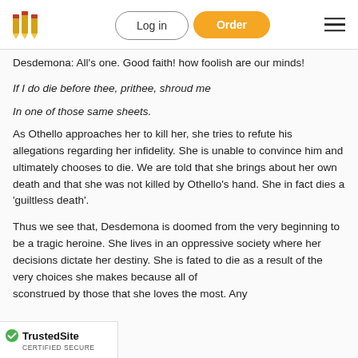Logo | Log in | Order | Menu
Desdemona: All's one. Good faith! how foolish are our minds!
If I do die before thee, prithee, shroud me
In one of those same sheets.
As Othello approaches her to kill her, she tries to refute his allegations regarding her infidelity. She is unable to convince him and ultimately chooses to die. We are told that she brings about her own death and that she was not killed by Othello's hand. She in fact dies a 'guiltless death'.
Thus we see that, Desdemona is doomed from the very beginning to be a tragic heroine. She lives in an oppressive society where her decisions dictate her destiny. She is fated to die as a result of the very choices she makes because all of [TrustedSite] sconstrued by those that she loves the most. Any [cut off] t she makes will be used against her. Her life